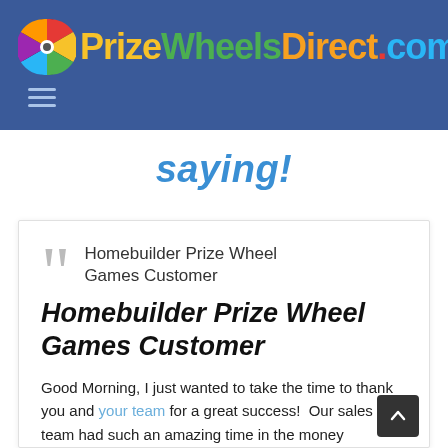PrizeWheelsDirect.com
saying!
Homebuilder Prize Wheel Games Customer
Homebuilder Prize Wheel Games Customer
Good Morning, I just wanted to take the time to thank you and your team for a great success! Our sales team had such an amazing time in the money...